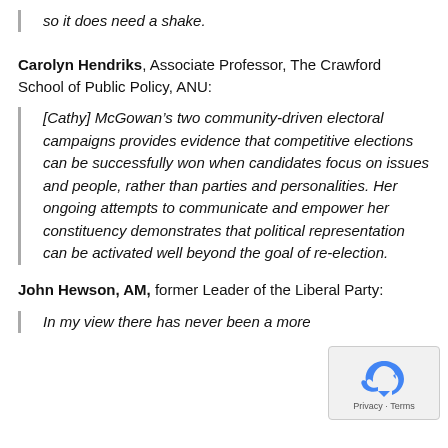so it does need a shake.
Carolyn Hendriks, Associate Professor, The Crawford School of Public Policy, ANU:
[Cathy] McGowan’s two community-driven electoral campaigns provides evidence that competitive elections can be successfully won when candidates focus on issues and people, rather than parties and personalities. Her ongoing attempts to communicate and empower her constituency demonstrates that political representation can be activated well beyond the goal of re-election.
John Hewson, AM, former Leader of the Liberal Party:
In my view there has never been a more